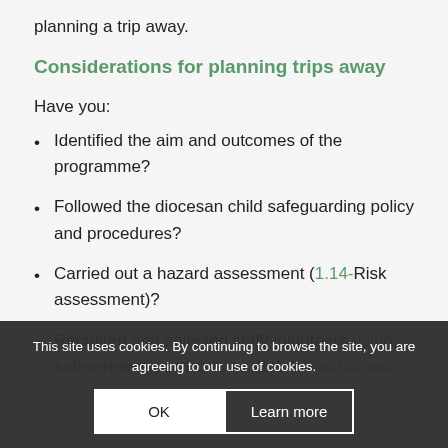planning a trip away.
Considerations for planning trips away
Have you:
Identified the aim and outcomes of the programme?
Followed the diocesan child safeguarding policy and procedures?
Carried out a hazard assessment (1.14-Risk assessment)?
Recruited and selected staff/volunteers using safeguarding procedures (1.1 – Recruitment…
This site uses cookies. By continuing to browse the site, you are agreeing to our use of cookies.
OK | Learn more